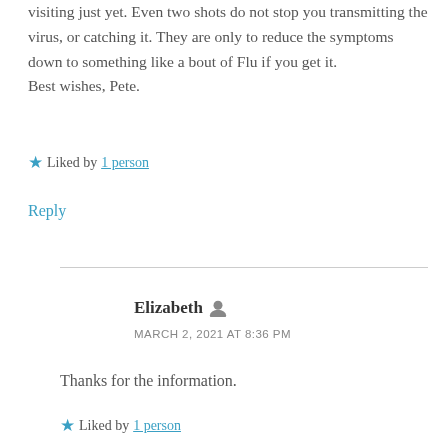visiting just yet. Even two shots do not stop you transmitting the virus, or catching it. They are only to reduce the symptoms down to something like a bout of Flu if you get it.
Best wishes, Pete.
Liked by 1 person
Reply
Elizabeth
MARCH 2, 2021 AT 8:36 PM
Thanks for the information.
Liked by 1 person